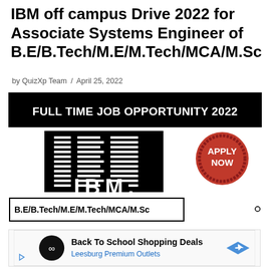IBM off campus Drive 2022 for Associate Systems Engineer of B.E/B.Tech/M.E/M.Tech/MCA/M.Sc
by QuizXp Team / April 25, 2022
[Figure (infographic): Black banner reading FULL TIME JOB OPPORTUNITY 2022, with IBM logo and APPLY NOW badge, and degree label B.E/B.Tech/M.E/M.Tech/MCA/M.Sc]
[Figure (infographic): Advertisement box: Back To School Shopping Deals, Leesburg Premium Outlets]